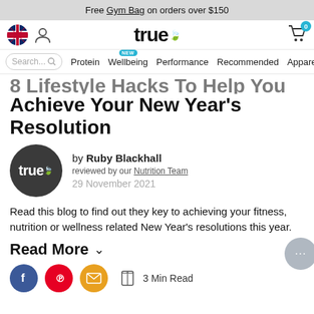Free Gym Bag on orders over $150
[Figure (screenshot): True nutrition website navigation bar with Australian flag icon, person icon, True logo with leaf, and cart icon with badge 0]
[Figure (screenshot): Website nav links: Search box, Protein, Wellbeing (NEW badge), Performance, Recommended, Apparel]
8 Lifestyle Hacks To Help You Achieve Your New Year's Resolution
[Figure (logo): True brand circular logo in dark grey with white text 'true' and green leaf icon]
by Ruby Blackhall
reviewed by our Nutrition Team
29 November 2021
Read this blog to find out they key to achieving your fitness, nutrition or wellness related New Year's resolutions this year.
Read More ∨
3 Min Read